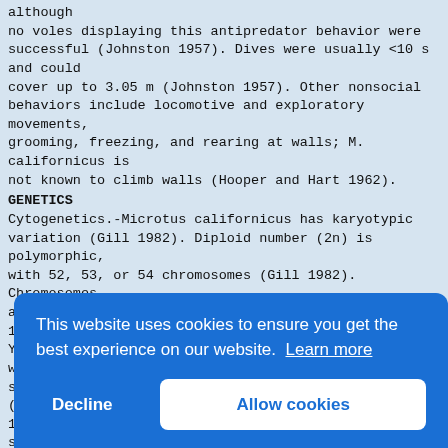although
no voles displaying this antipredator behavior were successful (Johnston 1957). Dives were usually <10 s and could
cover up to 3.05 m (Johnston 1957). Other nonsocial behaviors include locomotive and exploratory movements,
grooming, freezing, and rearing at walls; M. californicus is
not known to climb walls (Hooper and Hart 1962).
GENETICS
Cytogenetics.-Microtus californicus has karyotypic variation (Gill 1982). Diploid number (2n) is polymorphic,
with 52, 53, or 54 chromosomes (Gill 1982). Chromosomes
are medium in size, but display variation (Mathey 1954). The
Y chromosome is short; the X chromosome is V-shaped with
subequal arms. Most chromosomes are acrocentric
(Mat[...]
1954[...]
subm[...]
chro[...]
2 sm[...]
kary[...]
M. c[...]
sanc[...]
an a[...]
2nd [...]
larg[...]
variants and is often unpaired. The short arm of the
[Figure (screenshot): Cookie consent banner overlay with blue background. Text reads 'This website uses cookies to ensure you get the best experience on our website. Learn more'. Two buttons: 'Decline' (white text) and 'Allow cookies' (blue text on white button).]